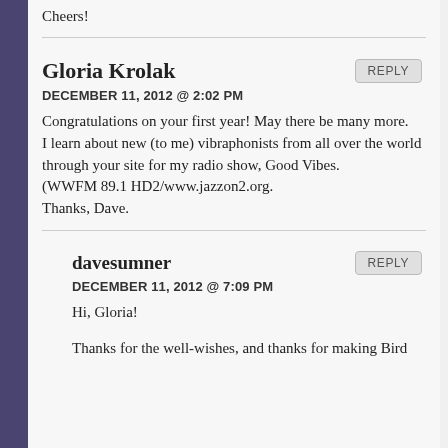Cheers!
Gloria Krolak
DECEMBER 11, 2012 @ 2:02 PM
Congratulations on your first year! May there be many more.
I learn about new (to me) vibraphonists from all over the world
through your site for my radio show, Good Vibes. (WWFM 89.1 HD2/www.jazzon2.org.
Thanks, Dave.
davesumner
DECEMBER 11, 2012 @ 7:09 PM
Hi, Gloria!
Thanks for the well-wishes, and thanks for making Bird